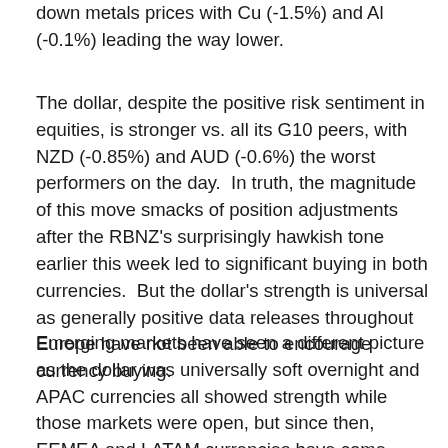down metals prices with Cu (-1.5%) and Al (-0.1%) leading the way lower.
The dollar, despite the positive risk sentiment in equities, is stronger vs. all its G10 peers, with NZD (-0.85%) and AUD (-0.6%) the worst performers on the day.  In truth, the magnitude of this move smacks of position adjustments after the RBNZ's surprisingly hawkish tone earlier this week led to significant buying in both currencies.  But the dollar's strength is universal as generally positive data releases throughout Europe have not been able to encourage currency buying.
Emerging markets have seen a different picture as the dollar was universally soft overnight and APAC currencies all showed strength while those markets were open, but since then, EEMEA and LATAM currencies have come under pressure.  The most notable mover here has been